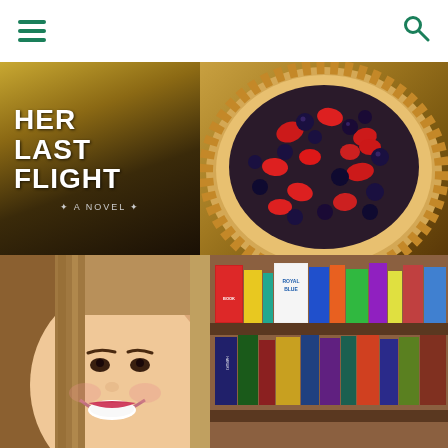Navigation header with hamburger menu and search icon
[Figure (photo): Book cover of 'Her Last Flight - A Novel' next to a berry galette/tart with strawberries and blueberries on a rustic wooden surface]
[Figure (photo): Woman with long hair smiling widely in front of a bookshelf containing books including 'Royal Blue' and other titles]